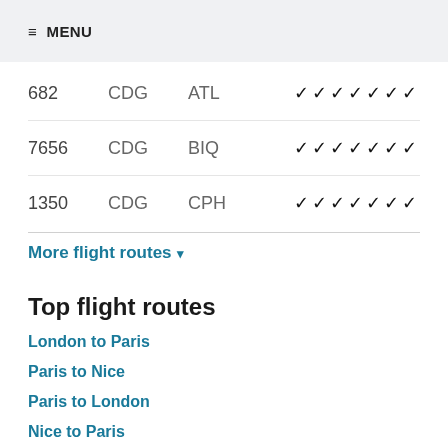≡ MENU
| Flight | From | To | Days |
| --- | --- | --- | --- |
| 682 | CDG | ATL | ✓✓✓✓✓✓✓ |
| 7656 | CDG | BIQ | ✓✓✓✓✓✓✓ |
| 1350 | CDG | CPH | ✓✓✓✓✓✓✓ |
More flight routes ▾
Top flight routes
London to Paris
Paris to Nice
Paris to London
Nice to Paris